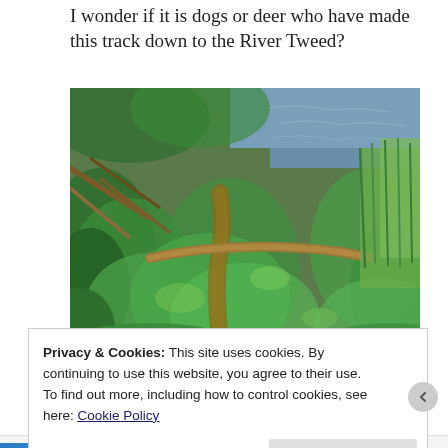I wonder if it is dogs or deer who have made this track down to the River Tweed?
[Figure (photo): Photograph of a narrow dirt path winding through dense green vegetation leading down toward the River Tweed, with overhanging tree branches and the river visible in the background.]
Privacy & Cookies: This site uses cookies. By continuing to use this website, you agree to their use.
To find out more, including how to control cookies, see here: Cookie Policy
Close and accept